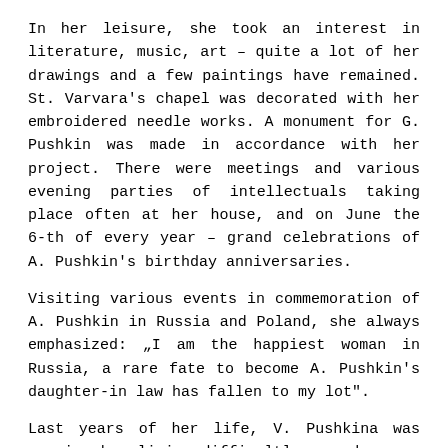In her leisure, she took an interest in literature, music, art – quite a lot of her drawings and a few paintings have remained. St. Varvara's chapel was decorated with her embroidered needle works. A monument for G. Pushkin was made in accordance with her project. There were meetings and various evening parties of intellectuals taking place often at her house, and on June the 6-th of every year – grand celebrations of A. Pushkin's birthday anniversaries.
Visiting various events in commemoration of A. Pushkin in Russia and Poland, she always emphasized: „I am the happiest woman in Russia, a rare fate to become A. Pushkin's daughter-in law has fallen to my lot".
Last years of her life, V. Pushkina was earning her living difficultly enough – was renting land of the estate, running into debt, but despite that she was doing her utmost trying piously to save and cherish the poet's memory. V. Pushkina died on 11 December, 1935, leaving the Markuchiai estate in a critical financial situation. She was buried in the family cemetery near the St. Varvara chapel.
In the testament executed in 1935, she wrote that the great poet A. Pushkin's memory has to be safeguarded in the living house of Markuchiai estate, and that the Markuchiai estate has always to serve